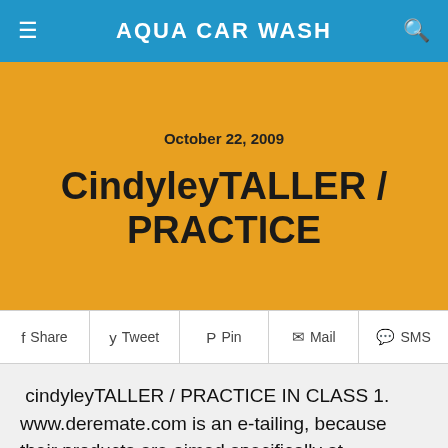AQUA CAR WASH
October 22, 2009
CindyleyTALLER / PRACTICE
Share   Tweet   Pin   Mail   SMS
cindyleyTALLER / PRACTICE IN CLASS 1. www.deremate.com is an e-tailing, because their products are aimed specifically at consumers who want to purchase physical products. His category is B2C 2. www.banamex.com is an part time e-market, because it is a type of business, whose sale is based